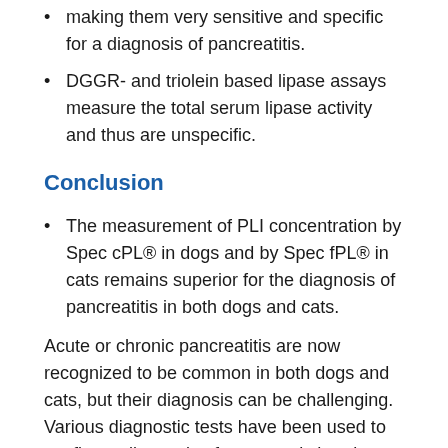making them very sensitive and specific for a diagnosis of pancreatitis.
DGGR- and triolein based lipase assays measure the total serum lipase activity and thus are unspecific.
Conclusion
The measurement of PLI concentration by Spec cPL® in dogs and by Spec fPL® in cats remains superior for the diagnosis of pancreatitis in both dogs and cats.
Acute or chronic pancreatitis are now recognized to be common in both dogs and cats, but their diagnosis can be challenging. Various diagnostic tests have been used to confirm a diagnosis of acute and chronic pancreatitis, including the measurement of serum lipase activity, measurement of serum pancreatic